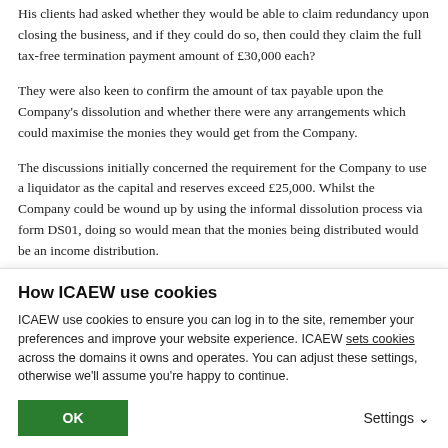His clients had asked whether they would be able to claim redundancy upon closing the business, and if they could do so, then could they claim the full tax-free termination payment amount of £30,000 each?
They were also keen to confirm the amount of tax payable upon the Company's dissolution and whether there were any arrangements which could maximise the monies they would get from the Company.
The discussions initially concerned the requirement for the Company to use a liquidator as the capital and reserves exceed £25,000. Whilst the Company could be wound up by using the informal dissolution process via form DS01, doing so would mean that the monies being distributed would be an income distribution.
Subsequently, we discussed whether the Company could make its
How ICAEW use cookies
ICAEW use cookies to ensure you can log in to the site, remember your preferences and improve your website experience. ICAEW sets cookies across the domains it owns and operates. You can adjust these settings, otherwise we'll assume you're happy to continue.